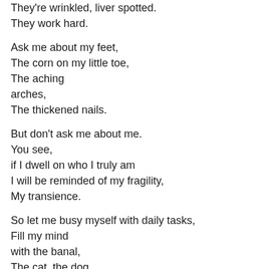They're wrinkled, liver spotted.
They work hard.

Ask me about my feet,
The corn on my little toe,
The aching
arches,
The thickened nails.

But don't ask me about me.
You see,
if I dwell on who I truly am
I will be reminded of my fragility,
My transience.

So let me busy myself with daily tasks,
Fill my mind
with the banal,
The cat, the dog,
Cooking, cleaning,
anything
To avoid a space in my head
For leisure, space for...